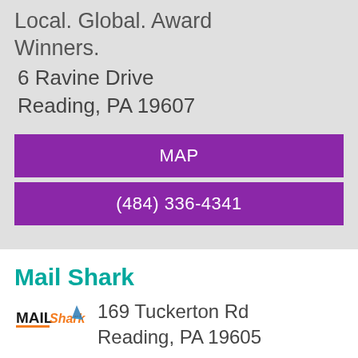Local. Global. Award Winners.
6 Ravine Drive
Reading, PA 19607
MAP
(484) 336-4341
Mail Shark
[Figure (logo): Mail Shark logo with stylized text MAIL in black/orange and Shark with shark fin graphic]
169 Tuckerton Rd
Reading, PA 19605
MAP
(484) 652-8359